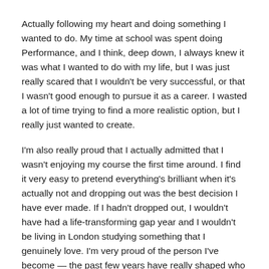Actually following my heart and doing something I wanted to do. My time at school was spent doing Performance, and I think, deep down, I always knew it was what I wanted to do with my life, but I was just really scared that I wouldn't be very successful, or that I wasn't good enough to pursue it as a career. I wasted a lot of time trying to find a more realistic option, but I really just wanted to create.
I'm also really proud that I actually admitted that I wasn't enjoying my course the first time around. I find it very easy to pretend everything's brilliant when it's actually not and dropping out was the best decision I have ever made. If I hadn't dropped out, I wouldn't have had a life-transforming gap year and I wouldn't be living in London studying something that I genuinely love. I'm very proud of the person I've become — the past few years have really shaped who I am, how I create, and my relationships with people.